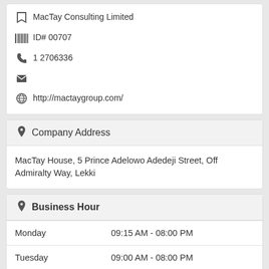MacTay Consulting Limited
ID# 00707
1 2706336
http://mactaygroup.com/
Company Address
MacTay House, 5 Prince Adelowo Adedeji Street, Off Admiralty Way, Lekki
Business Hour
| Day | Hours |
| --- | --- |
| Monday | 09:15 AM - 08:00 PM |
| Tuesday | 09:00 AM - 08:00 PM |